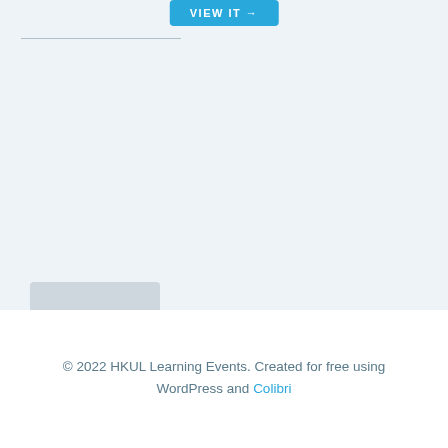[Figure (other): Blue 'VIEW IT →' button partially visible at top center of page, with a horizontal divider line below on the left side and a shadow/card element at the bottom of the light blue section]
© 2022 HKUL Learning Events. Created for free using WordPress and Colibri